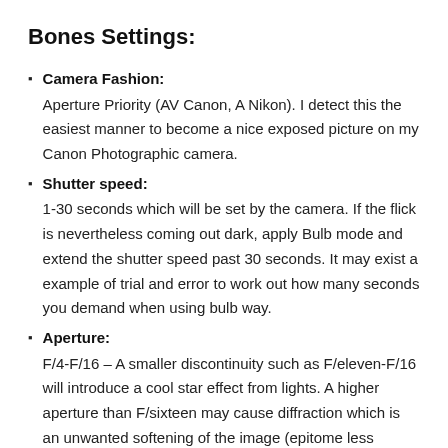Bones Settings:
Camera Fashion: Aperture Priority (AV Canon, A Nikon). I detect this the easiest manner to become a nice exposed picture on my Canon Photographic camera.
Shutter speed: 1-30 seconds which will be set by the camera. If the flick is nevertheless coming out dark, apply Bulb mode and extend the shutter speed past 30 seconds. It may exist a example of trial and error to work out how many seconds you demand when using bulb way.
Aperture: F/4-F/16 – A smaller discontinuity such as F/eleven-F/16 will introduce a cool star effect from lights. A higher aperture than F/sixteen may cause diffraction which is an unwanted softening of the image (epitome less abrupt) so information technology's best non to go too high.